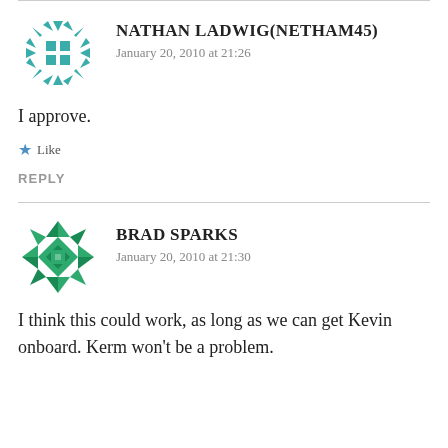[Figure (illustration): Teal snowflake/geometric avatar icon for Nathan Ladwig]
NATHAN LADWIG(NETHAM45)
January 20, 2010 at 21:26
I approve.
Like
REPLY
[Figure (illustration): Green geometric/quilt-pattern avatar icon for Brad Sparks]
BRAD SPARKS
January 20, 2010 at 21:30
I think this could work, as long as we can get Kevin onboard. Kerm won't be a problem.